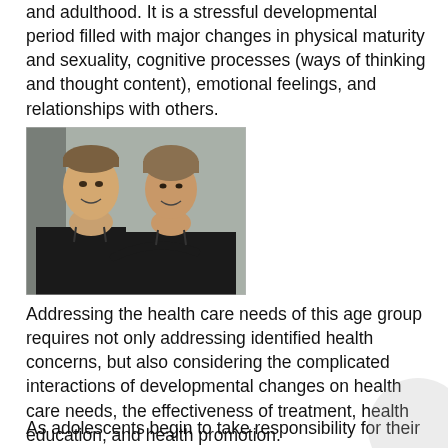and adulthood. It is a stressful developmental period filled with major changes in physical maturity and sexuality, cognitive processes (ways of thinking and thought content), emotional feelings, and relationships with others.
[Figure (photo): Photo of two smiling young women wearing black tops, posed together]
Addressing the health care needs of this age group requires not only addressing identified health concerns, but also considering the complicated interactions of developmental changes on health care needs, the effectiveness of treatment, health education, and health promotion.
As adolescents begin to take responsibility for their own